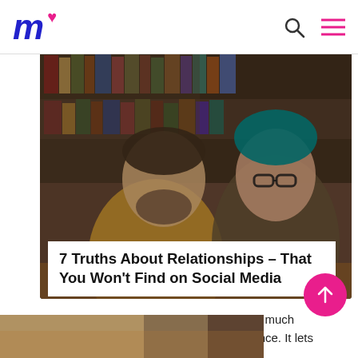m♥ [logo] [search icon] [menu icon]
[Figure (photo): Two young people — a bearded man in a yellow sweater and a woman with teal/blue hair and glasses wearing a plaid shirt — sitting together in a library or bookshelf setting, looking down at something together.]
7 Truths About Relationships – That You Won't Find on Social Media
Social media: it's inescapable, and pretty much everyone has some form of online presence. It lets us keep in touch……
[Figure (photo): Partial bottom strip showing a warm-toned image, partially visible at the bottom of the page.]